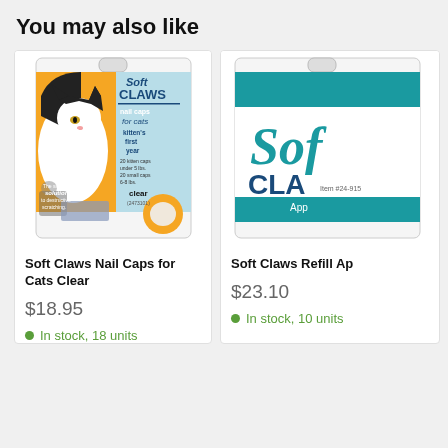You may also like
[Figure (photo): Soft Claws Nail Caps for Cats Clear product packaging showing a black and white cat on orange and blue background]
Soft Claws Nail Caps for Cats Clear
$18.95
In stock, 18 units
[Figure (photo): Soft Claws Refill Applicator product packaging partially visible, showing teal/blue branding]
Soft Claws Refill Ap
$23.10
In stock, 10 units